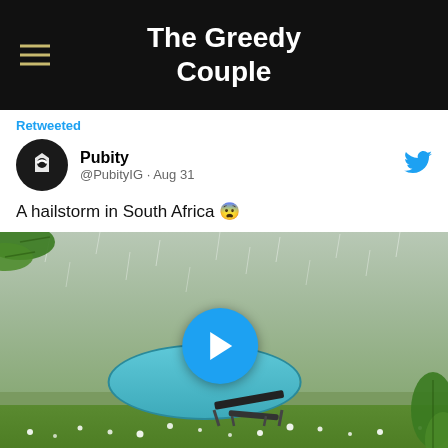The Greedy Couple
Retweeted
Pubity @PubityIG · Aug 31
A hailstorm in South Africa 😨
[Figure (photo): Video thumbnail showing a hailstorm in South Africa: a backyard with a swimming pool, lawn chair, scattered hail on the ground, trees and leaves around the frame, heavy rain visible, with a blue play button in the center.]